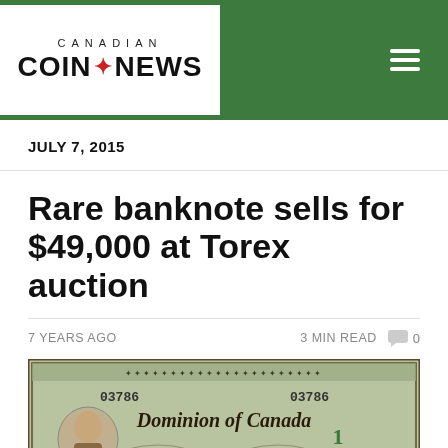CANADIAN COIN NEWS
JULY 7, 2015
Rare banknote sells for $49,000 at Torex auction
7 YEARS AGO   3 MIN READ   0
[Figure (photo): Photograph of a Dominion of Canada $1 banknote with serial number 03786]